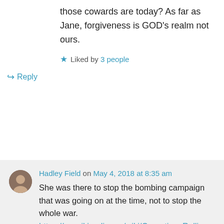those cowards are today? As far as Jane, forgiveness is GOD's realm not ours.
Liked by 3 people
↩ Reply
Hadley Field on May 4, 2018 at 8:35 am
She was there to stop the bombing campaign that was going on at the time, not to stop the whole war. https://en.wikipedia.org/wiki/Operation_Rolling_Thunder
Liked by 1 person
↩ Reply